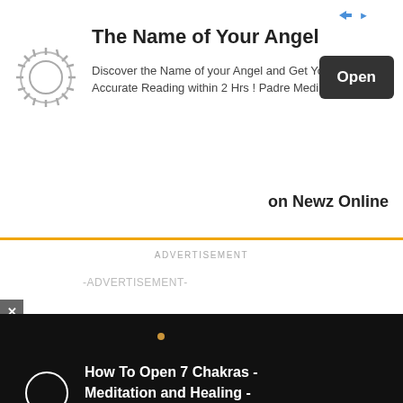[Figure (other): Advertisement banner for 'The Name of Your Angel' with a gear/mandala icon on the left, title text, body text, and an 'Open' button on the right.]
on Newz Online
ADVERTISEMENT
-ADVERTISEMENT-
[Figure (other): Video player thumbnail on black background showing a circle loading spinner and a golden dot, with text overlay: How To Open 7 Chakras - Meditation and Healing - SunSigns.Org]